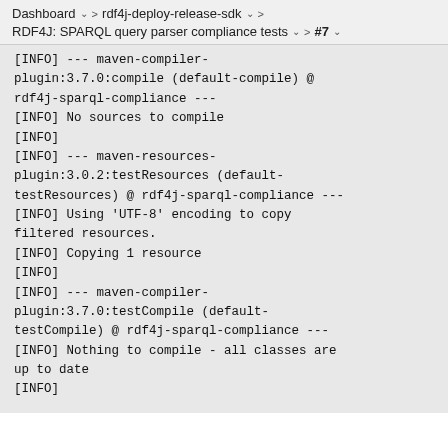Dashboard  >  rdf4j-deploy-release-sdk  >  RDF4J: SPARQL query parser compliance tests  >  #7
[INFO] --- maven-compiler-plugin:3.7.0:compile (default-compile) @ rdf4j-sparql-compliance ---
[INFO] No sources to compile
[INFO]
[INFO] --- maven-resources-plugin:3.0.2:testResources (default-testResources) @ rdf4j-sparql-compliance ---
[INFO] Using 'UTF-8' encoding to copy filtered resources.
[INFO] Copying 1 resource
[INFO]
[INFO] --- maven-compiler-plugin:3.7.0:testCompile (default-testCompile) @ rdf4j-sparql-compliance ---
[INFO] Nothing to compile - all classes are up to date
[INFO]